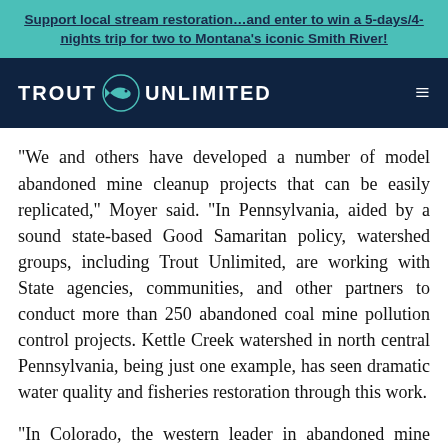Support local stream restoration…and enter to win a 5-days/4-nights trip for two to Montana's iconic Smith River!
[Figure (logo): Trout Unlimited logo with fish icon on dark navy background, hamburger menu icon on right]
“We and others have developed a number of model abandoned mine cleanup projects that can be easily replicated,” Moyer said. “In Pennsylvania, aided by a sound state-based Good Samaritan policy, watershed groups, including Trout Unlimited, are working with State agencies, communities, and other partners to conduct more than 250 abandoned coal mine pollution control projects. Kettle Creek watershed in north central Pennsylvania, being just one example, has seen dramatic water quality and fisheries restoration through this work.
“In Colorado, the western leader in abandoned mine cleanup work, Trout Unlimited – again in partnership with state and federal agencies and private landowners –